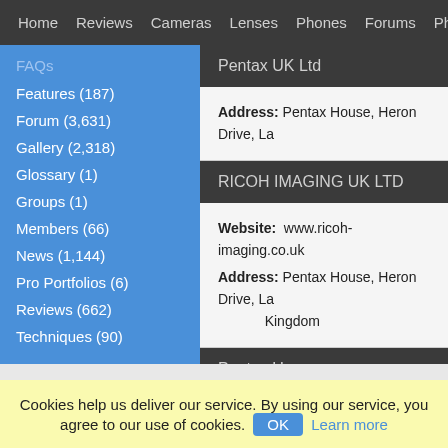Home | Reviews | Cameras | Lenses | Phones | Forums | Photos | How
FAQs
Features (187)
Forum (3,631)
Gallery (2,318)
Glossary (1)
Groups (1)
Members (66)
News (1,144)
Pro Portfolios (6)
Reviews (662)
Techniques (90)
Pentax UK Ltd
Address: Pentax House, Heron Drive, La
RICOH IMAGING UK LTD
Website: www.ricoh-imaging.co.uk
Address: Pentax House, Heron Drive, La… Kingdom
Pentax User
Website: www.pentaxuser.co.uk
Cookies help us deliver our service. By using our service, you agree to our use of cookies. OK Learn more